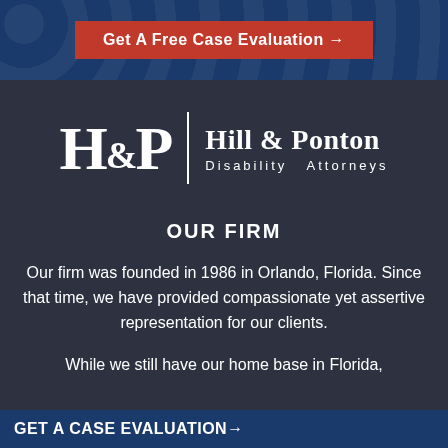Get A Free Case Evaluation →
[Figure (logo): Hill & Ponton Disability Attorneys logo — stylized H&P letters with vertical divider and firm name]
OUR FIRM
Our firm was founded in 1986 in Orlando, Florida. Since that time, we have provided compassionate yet assertive representation for our clients.
While we still have our home base in Florida,
GET A CASE EVALUATION→